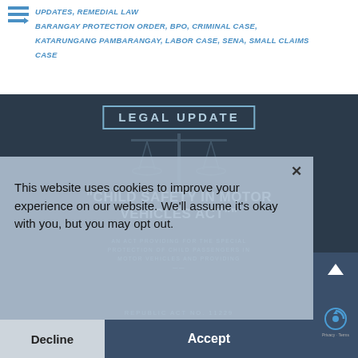UPDATES, REMEDIAL LAW BARANGAY PROTECTION ORDER, BPO, CRIMINAL CASE, KATARUNGANG PAMBARANGAY, LABOR CASE, SENA, SMALL CLAIMS CASE
[Figure (screenshot): Dark background Legal Update banner showing 'CHILD SAFETY IN MOTOR VEHICLES ACT' with scales of justice icon, subtitle text about special protection of child passengers, Republic Act No. 11229, and SAKLAW NG BATAS text at bottom]
This website uses cookies to improve your experience on our website. We'll assume it's okay with you, but you may opt out.
Privacy Policy
Decline
Accept